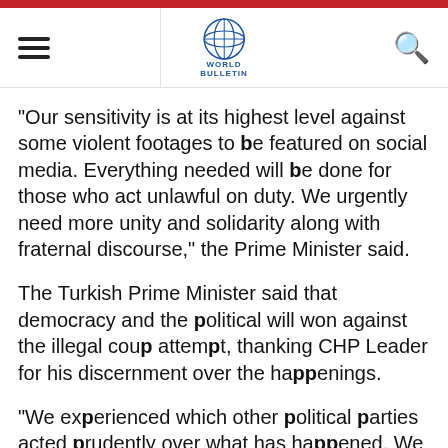World Bulletin
"Our sensitivity is at its highest level against some violent footages to be featured on social media. Everything needed will be done for those who act unlawful on duty. We urgently need more unity and solidarity along with fraternal discourse," the Prime Minister said.
The Turkish Prime Minister said that democracy and the political will won against the illegal coup attempt, thanking CHP Leader for his discernment over the happenings.
"We experienced which other political parties acted prudently over what has happened. We need to be